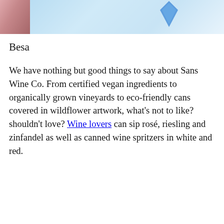[Figure (photo): Top portion of a photo showing wine cans with a light blue background and partial view of colorful can artwork]
Besa
We have nothing but good things to say about Sans Wine Co. From certified vegan ingredients to organically grown vineyards to eco-friendly cans covered in wildflower artwork, what’s not to like? shouldn’t love? Wine lovers can sip rosé, riesling and zinfandel as well as canned wine spritzers in white and red.
[Figure (photo): Bottom portion showing a light blue background with a partially visible wine can labeled NATURA in the lower right corner]